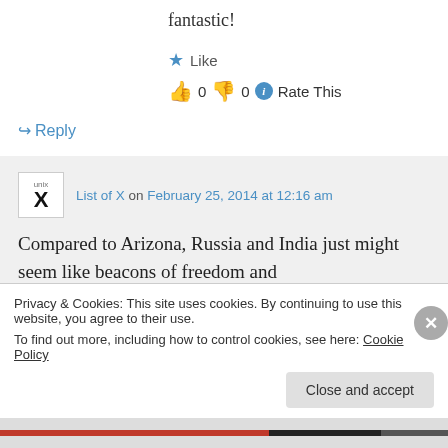fantastic!
★ Like
👍 0 👎 0 ℹ Rate This
↪ Reply
List of X on February 25, 2014 at 12:16 am
Compared to Arizona, Russia and India just might seem like beacons of freedom and
Privacy & Cookies: This site uses cookies. By continuing to use this website, you agree to their use.
To find out more, including how to control cookies, see here: Cookie Policy
Close and accept